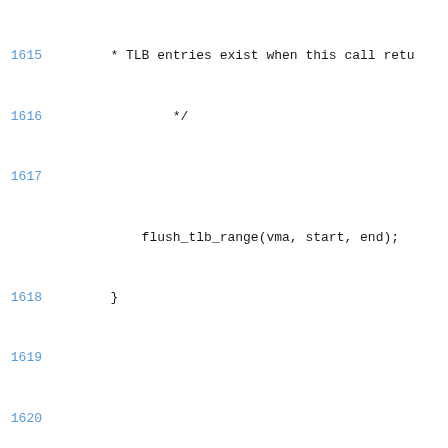Source code listing, lines 1615–1633, showing C kernel code including flush_tlb_range, mmu_notifier_invalidate_range_end, tlb_finish_mmu, closing brace, and a Kernel-doc comment block for zap_page_range_single describing parameters @vma, @address, @size, @details and a note that the range must fit into one VMA.